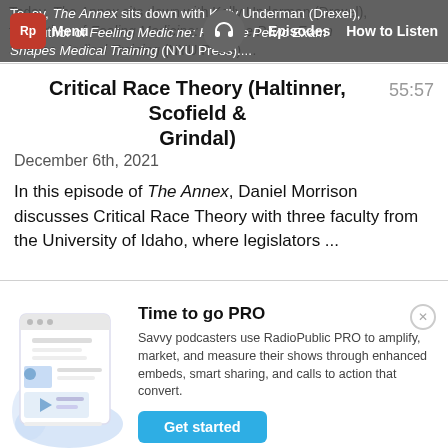Today, The Annex sits down with Kelly Underman (Drexel), the author of Feeling Medicine: How the Pelvic Exam Shapes Medical Training (NYU Press)....
Critical Race Theory (Haltinner, Scofield & Grindal)
55:57
December 6th, 2021
In this episode of The Annex, Daniel Morrison discusses Critical Race Theory with three faculty from the University of Idaho, where legislators ...
Time to go PRO
Savvy podcasters use RadioPublic PRO to amplify, market, and measure their shows through enhanced embeds, smart sharing, and calls to action that convert.
Get started